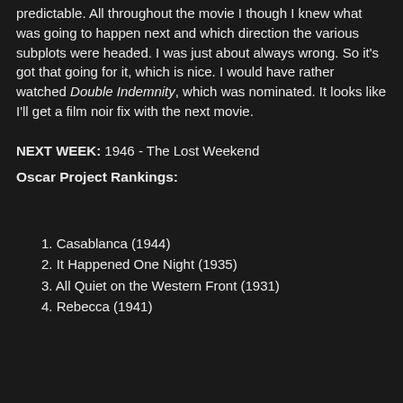predictable. All throughout the movie I though I knew what was going to happen next and which direction the various subplots were headed. I was just about always wrong. So it's got that going for it, which is nice. I would have rather watched Double Indemnity, which was nominated. It looks like I'll get a film noir fix with the next movie.
NEXT WEEK: 1946 - The Lost Weekend
Oscar Project Rankings:
1. Casablanca (1944)
2. It Happened One Night (1935)
3. All Quiet on the Western Front (1931)
4. Rebecca (1941)